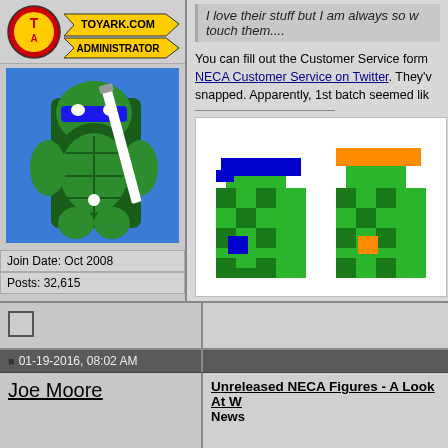[Figure (logo): ToyArk.com Administrator badge with yellow/red logo]
[Figure (illustration): Pixel art of a green TMNT turtle character holding a white sword on blue background]
Join Date: Oct 2008
Posts: 32,615
I love their stuff but I am always so w... touch them....
You can fill out the Customer Service form... NECA Customer Service on Twitter. They'v... snapped. Apparently, 1st batch seemed lik...
[Figure (illustration): Pixel art of two TMNT turtles - one with blue bandana, one with orange bandana on white background]
01-19-2016, 08:02 AM
Joe Moore
Unreleased NECA Figures - A Look At W... News